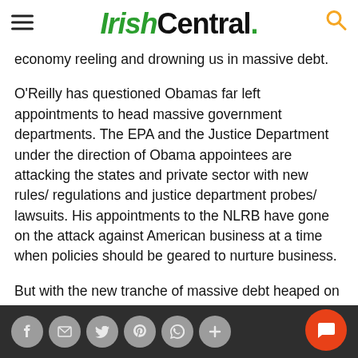IrishCentral.
economy reeling and drowning us in massive debt.
O'Reilly has questioned Obamas far left appointments to head massive government departments. The EPA and the Justice Department under the direction of Obama appointees are attacking the states and private sector with new rules/ regulations and justice department probes/ lawsuits. His appointments to the NLRB have gone on the attack against American business at a time when policies should be geared to nurture business.
But with the new tranche of massive debt heaped on America, things have gotten out of hand in an alarming way and it seems Bill cannot bite his tongue any longer. He is using his pulpit to signal Obama and the American public that the shillelagh of the petd is going to it to beat away at policies that he feels are harming ou...